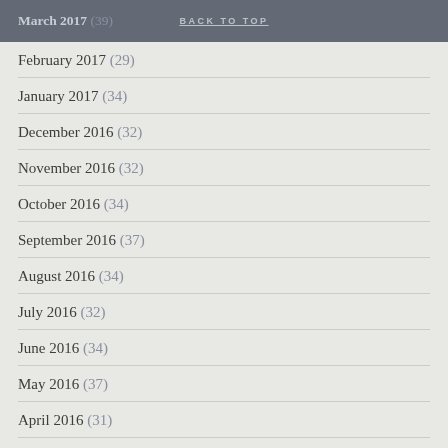March 2017 (39) | BACK TO TOP
February 2017 (29)
January 2017 (34)
December 2016 (32)
November 2016 (32)
October 2016 (34)
September 2016 (37)
August 2016 (34)
July 2016 (32)
June 2016 (34)
May 2016 (37)
April 2016 (31)
March 2016 (41)